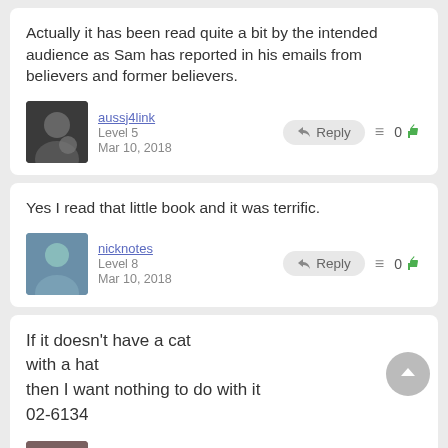Actually it has been read quite a bit by the intended audience as Sam has reported in his emails from believers and former believers.
aussj4link
Level 5
Mar 10, 2018
Reply  ≡  0 👍
Yes I read that little book and it was terrific.
nicknotes
Level 8
Mar 10, 2018
Reply  ≡  0 👍
If it doesn't have a cat with a hat then I want nothing to do with it 02-6134
JeffMesser
Level 8
Mar 10, 2018
Reply  ≡  3 👍